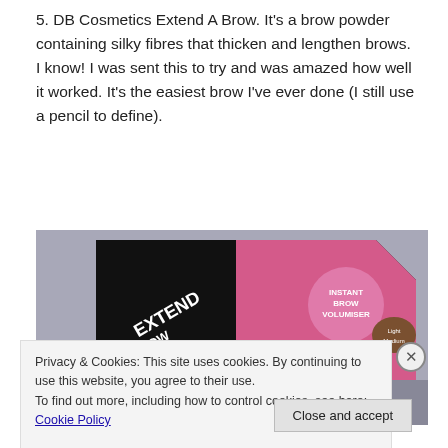5. DB Cosmetics Extend A Brow. It's a brow powder containing silky fibres that thicken and lengthen brows. I know! I was sent this to try and was amazed how well it worked. It's the easiest brow I've ever done (I still use a pencil to define).
[Figure (photo): Photo of DB Cosmetics Extend A Brow product box — black packaging with pink accents, text reading EXTEND A BROW, INSTANT BROW VOLUMISER, shown at an angle on a surface.]
Privacy & Cookies: This site uses cookies. By continuing to use this website, you agree to their use.
To find out more, including how to control cookies, see here: Cookie Policy
Close and accept